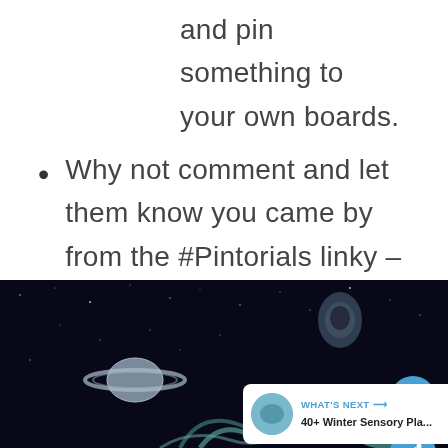blogs that have linked up and pin something to your own boards.
Why not comment and let them know you came by from the #Pintorials linky – perhaps they will come and follow you on Pinterest!
[Figure (illustration): Dark space scene with Saturn-like planet with rings, stars, and what appears to be an astronaut figure, with UI overlay elements including a heart button, share button, and a 'What's Next' panel showing '40+ Winter Sensory Pla...']